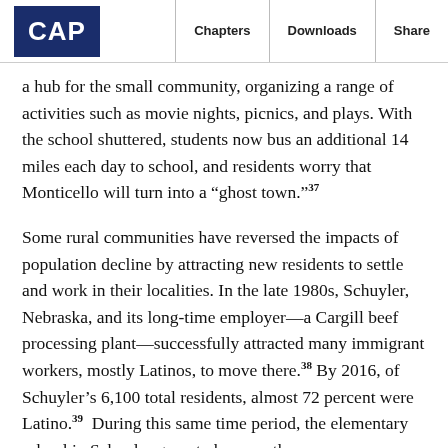CAP | Chapters | Downloads | Share
a hub for the small community, organizing a range of activities such as movie nights, picnics, and plays. With the school shuttered, students now bus an additional 14 miles each day to school, and residents worry that Monticello will turn into a “ghost town.”37
Some rural communities have reversed the impacts of population decline by attracting new residents to settle and work in their localities. In the late 1980s, Schuyler, Nebraska, and its long-time employer—a Cargill beef processing plant—successfully attracted many immigrant workers, mostly Latinos, to move there.38 By 2016, of Schuyler’s 6,100 total residents, almost 72 percent were Latino.39 During this same time period, the elementary school in Schuyler grew to become the